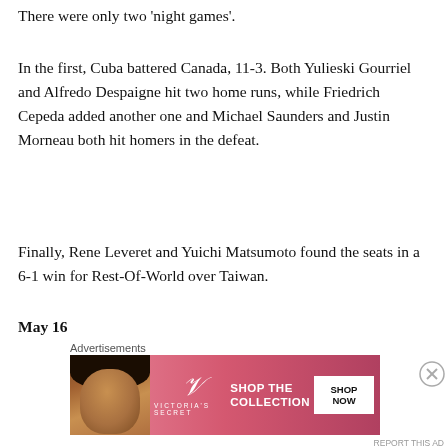There were only two 'night games'.
In the first, Cuba battered Canada, 11-3. Both Yulieski Gourriel and Alfredo Despaigne hit two home runs, while Friedrich Cepeda added another one and Michael Saunders and Justin Morneau both hit homers in the defeat.
Finally, Rene Leveret and Yuichi Matsumoto found the seats in a 6-1 win for Rest-Of-World over Taiwan.
May 16
Yoshio Itoi hit the DL with shoulder inflammation and would miss six weeks. Meanwhile, Canada got Taylor
Advertisements
[Figure (photo): Victoria's Secret advertisement banner with a model, VS logo, 'SHOP THE COLLECTION' text, and 'SHOP NOW' button on a pink/red gradient background]